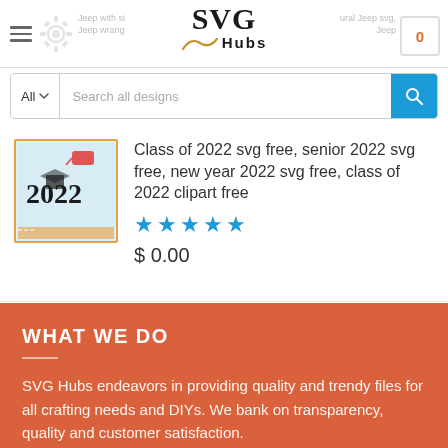SVG Hubs — navigation header with search bar
[Figure (screenshot): Product thumbnail: Class of 2022 SVG design on light blue background with orange border]
Class of 2022 svg free, senior 2022 svg free, new year 2022 svg free, class of 2022 clipart free
[Figure (other): 5-star rating in blue stars]
$ 0.00
WHAT WE DO
SVG Hubs endeavors in providing quality and trendy files for all crafting needs and DIYs. We bank on transparency, quality and customer satisfaction.